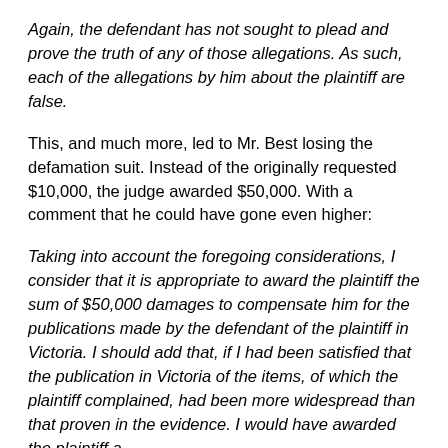Again, the defendant has not sought to plead and prove the truth of any of those allegations. As such, each of the allegations by him about the plaintiff are false.
This, and much more, led to Mr. Best losing the defamation suit. Instead of the originally requested $10,000, the judge awarded $50,000. With a comment that he could have gone even higher:
Taking into account the foregoing considerations, I consider that it is appropriate to award the plaintiff the sum of $50,000 damages to compensate him for the publications made by the defendant of the plaintiff in Victoria. I should add that, if I had been satisfied that the publication in Victoria of the items, of which the plaintiff complained, had been more widespread than that proven in the evidence, I would have awarded the plaintiff a